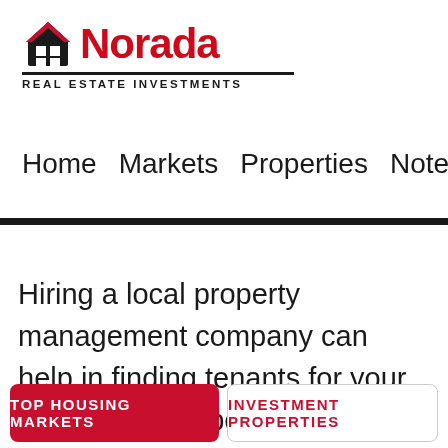[Figure (logo): Norada Real Estate Investments logo with house icon and red text]
Home  Markets  Properties  Notes  Members
Hiring a local property management company can help in finding tenants for your investment property in Kirkland. If it is your first time to invest in Kirkland real estate, then you would have to be aware of common beginner's mistakes. Beginners would usually follow the media, buy a property and wait for
TOP HOUSING MARKETS   INVESTMENT PROPERTIES